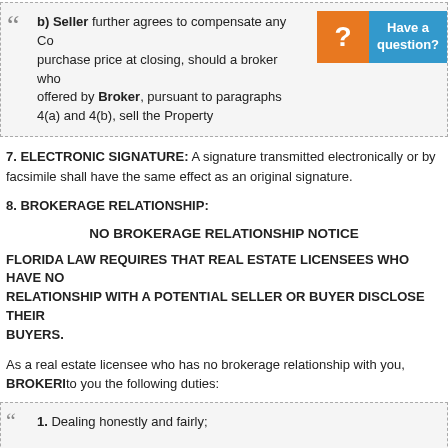b) Seller further agrees to compensate any Co… purchase price at closing, should a broker who… offered by Broker, pursuant to paragraphs 4(a) and 4(b), sell the Property…
7. ELECTRONIC SIGNATURE: A signature transmitted electronically or by facsimile shall have the same effect as an original signature.
8. BROKERAGE RELATIONSHIP:
NO BROKERAGE RELATIONSHIP NOTICE
FLORIDA LAW REQUIRES THAT REAL ESTATE LICENSEES WHO HAVE NO BROKERAGE RELATIONSHIP WITH A POTENTIAL SELLER OR BUYER DISCLOSE THEIR DUTIES TO BUYERS.
As a real estate licensee who has no brokerage relationship with you, BROKERI… to you the following duties:
1. Dealing honestly and fairly;
2. Disclosing all known facts that materially affect the value of residential r… readily observable to the buyer.
3. Accounting for all funds entrusted to the licensee.